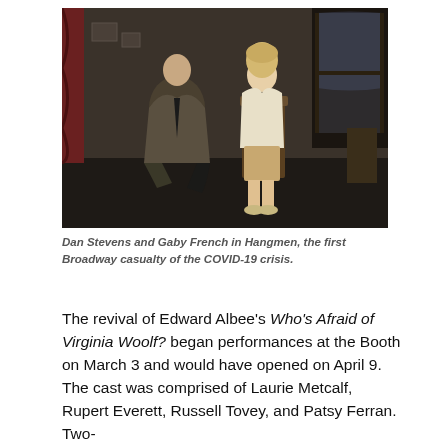[Figure (photo): Two actors on a stage set — a man in a brown suit kneeling on one knee at left, and a woman in a cream cardigan seated in a chair at right, both looking upward. Dark, atmospheric theatrical backdrop with gothic window and scattered items on walls.]
Dan Stevens and Gaby French in Hangmen, the first Broadway casualty of the COVID-19 crisis.
The revival of Edward Albee's Who's Afraid of Virginia Woolf? began performances at the Booth on March 3 and would have opened on April 9. The cast was comprised of Laurie Metcalf, Rupert Everett, Russell Tovey, and Patsy Ferran. Two-time Tony winner Joe Mantello also directed…